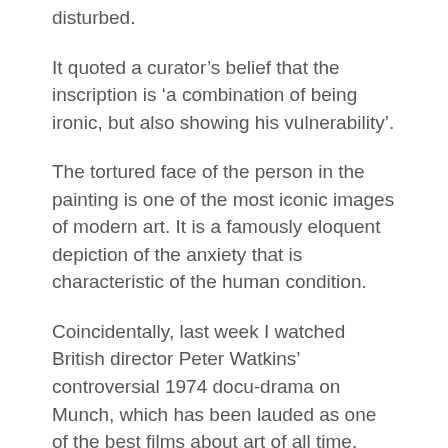disturbed.
It quoted a curator’s belief that the inscription is ‘a combination of being ironic, but also showing his vulnerability’.
The tortured face of the person in the painting is one of the most iconic images of modern art. It is a famously eloquent depiction of the anxiety that is characteristic of the human condition.
Coincidentally, last week I watched British director Peter Watkins’ controversial 1974 docu-drama on Munch, which has been lauded as one of the best films about art of all time.
The legendary Swedish director Ingmar Bergman called it a ‘work of genius’, but the Norwegian public